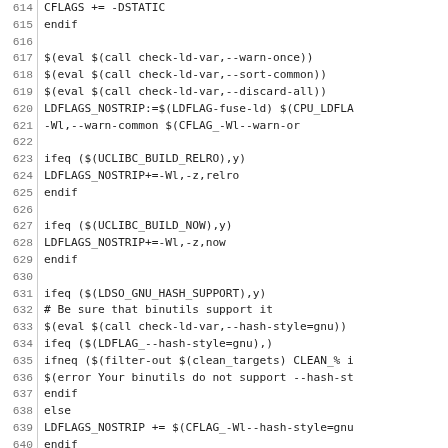Code listing lines 614-644, Makefile/build script source code
614: CFLAGS += -DSTATIC
615: endif
616: (blank)
617: $(eval $(call check-ld-var,--warn-once))
618: $(eval $(call check-ld-var,--sort-common))
619: $(eval $(call check-ld-var,--discard-all))
620: LDFLAGS_NOSTRIP:=$(LDFLAG-fuse-ld) $(CPU_LDFL...
621:         -Wl,--warn-common $(CFLAG_-Wl--warn-or...
622: (blank)
623: ifeq ($(UCLIBC_BUILD_RELRO),y)
624: LDFLAGS_NOSTRIP+=-Wl,-z,relro
625: endif
626: (blank)
627: ifeq ($(UCLIBC_BUILD_NOW),y)
628: LDFLAGS_NOSTRIP+=-Wl,-z,now
629: endif
630: (blank)
631: ifeq ($(LDSO_GNU_HASH_SUPPORT),y)
632: # Be sure that binutils support it
633: $(eval $(call check-ld-var,--hash-style=gnu))
634: ifeq ($(LDFLAG_--hash-style=gnu),)
635: ifneq ($(filter-out $(clean_targets) CLEAN_% i...
636: $(error Your binutils do not support --hash-st...
637: endif
638: else
639: LDFLAGS_NOSTRIP += $(CFLAG_-Wl--hash-style=gnu...
640: endif
641: endif
642: (blank)
643: ifeq ($(DODEBUG),y)
644: CFLAGS += -gg -g2 -DDEBUG...